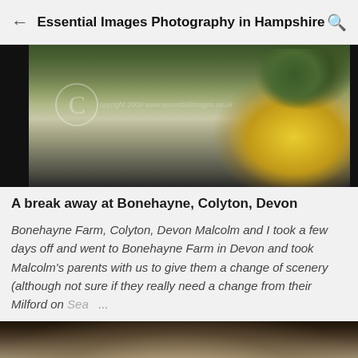Essential Images Photography in Hampshire
[Figure (photo): Photograph of a yellow rose in bloom with a blurred white building and green foliage in the background. A watermark circle with copyright text is visible.]
A break away at Bonehayne, Colyton, Devon
Bonehayne Farm, Colyton, Devon Malcolm and I took a few days off and went to Bonehayne Farm in Devon and took Malcolm's parents with us to give them a change of scenery (although not sure if they really need a change from their Milford on Sea ...
[Figure (photo): Partially visible photograph showing what appears to be the top of a person's head with grey/silver hair against a dark background.]